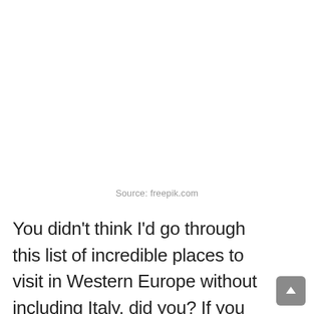Source: freepik.com
You didn't think I'd go through this list of incredible places to visit in Western Europe without including Italy, did you? If you thought that, you'd be wrong because, like almost everyone else on the planet, I also adore this